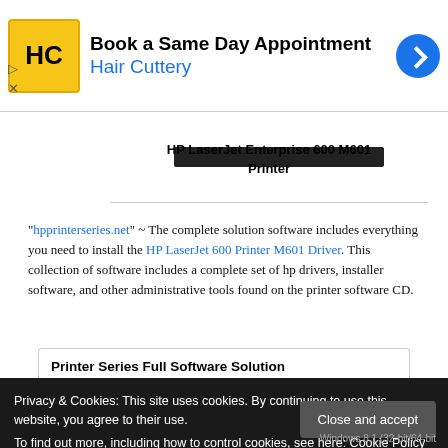[Figure (screenshot): Hair Cuttery advertisement banner with logo, 'Book a Same Day Appointment' headline, Hair Cuttery text in blue, and blue circular arrow icon]
[Figure (photo): HP LaserJet Enterprise 600 M601 Printer image (partially visible, dark bar at top)]
HP LaserJet Enterprise 600 M601 Printer
"hpprinterseries.net" ~ The complete solution software includes everything you need to install the HP LaserJet 600 Printer M601 Driver. This collection of software includes a complete set of hp drivers, installer software, and other administrative tools found on the printer software CD.
Printer Series Full Software Solution
Privacy & Cookies: This site uses cookies. By continuing to use this website, you agree to their use.
To find out more, including how to control cookies, see here: Cookie Policy
Windows 8.1 (32-bit/64-bit